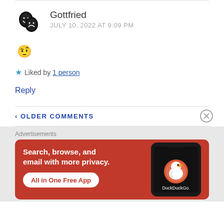Gottfried
JULY 10, 2022 AT 9:09 PM
🤨
★ Liked by 1 person
Reply
‹ OLDER COMMENTS
Advertisements
[Figure (screenshot): DuckDuckGo advertisement banner: orange/red background with white text 'Search, browse, and email with more privacy.' and 'All in One Free App' button, with a smartphone showing DuckDuckGo logo on the right.]